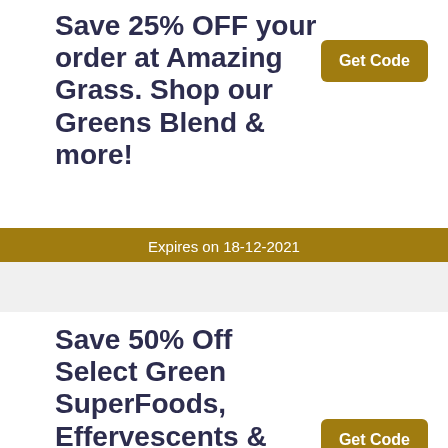Save 25% OFF your order at Amazing Grass. Shop our Greens Blend & more!
Get Code
Expires on 18-12-2021
Save 50% Off Select Green SuperFoods, Effervescents & Proteins at Amazing Grass
Get Code